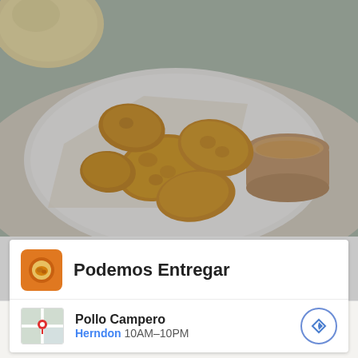[Figure (photo): Plate of fried chicken nuggets with dipping sauce, on a white plate with napkin, blurred background]
Podemos Entregar
Pollo Campero
Herndon 10AM–10PM
If you are looking to make a fashion statement on
By using this website, you agree to our use of cookies. We use cookies to provide you with a great experience and to help our website run effectively.
[Figure (screenshot): Walgreens Photo advertisement: Your One Stop Vitamin Shop, Walgreens Photo]